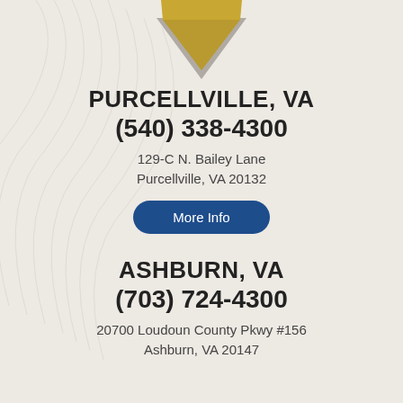[Figure (logo): Gold and grey shield/diamond logo at top center of page]
PURCELLVILLE, VA
(540) 338-4300
129-C N. Bailey Lane
Purcellville, VA 20132
More Info
ASHBURN, VA
(703) 724-4300
20700 Loudoun County Pkwy #156
Ashburn, VA 20147